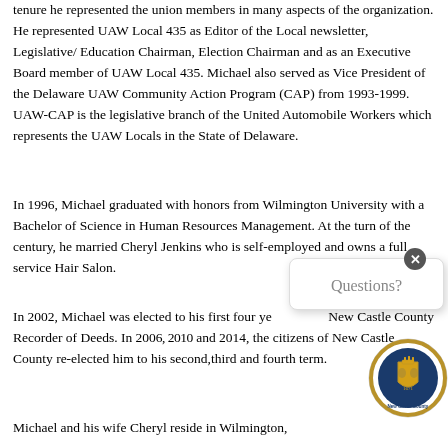tenure he represented the union members in many aspects of the organization. He represented UAW Local 435 as Editor of the Local newsletter, Legislative/Education Chairman, Election Chairman and as an Executive Board member of UAW Local 435. Michael also served as Vice President of the Delaware UAW Community Action Program (CAP) from 1993-1999. UAW-CAP is the legislative branch of the United Automobile Workers which represents the UAW Locals in the State of Delaware.
In 1996, Michael graduated with honors from Wilmington University with a Bachelor of Science in Human Resources Management. At the turn of the century, he married Cheryl Jenkins who is self-employed and owns a full service Hair Salon.
In 2002, Michael was elected to his first four year term as New Castle County Recorder of Deeds. In 2006, 2010 and 2014, the citizens of New Castle County re-elected him to his second,third and fourth term.
Michael and his wife Cheryl reside in Wilmington,
[Figure (other): Questions? chat popup box with close (x) button]
[Figure (logo): New Castle County seal/badge — circular gold and blue crest]